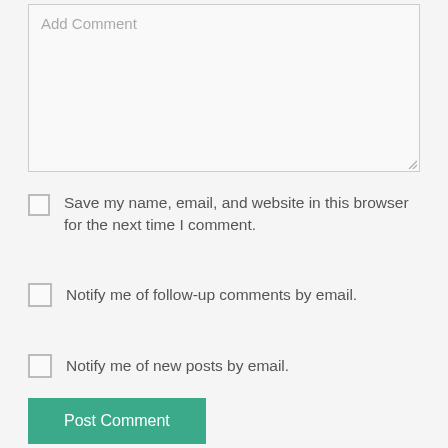Add Comment
Save my name, email, and website in this browser for the next time I comment.
Notify me of follow-up comments by email.
Notify me of new posts by email.
Post Comment